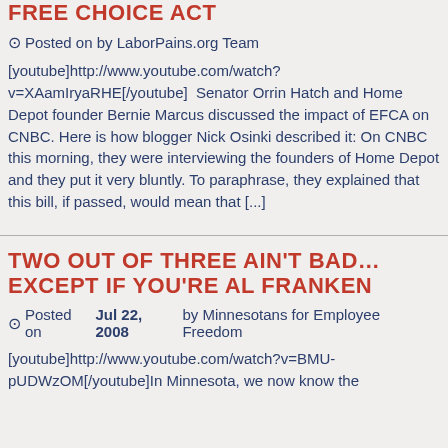FREE CHOICE ACT
⊙ Posted on by LaborPains.org Team
[youtube]http://www.youtube.com/watch?v=XAamIryaRHE[/youtube]  Senator Orrin Hatch and Home Depot founder Bernie Marcus discussed the impact of EFCA on CNBC. Here is how blogger Nick Osinki described it: On CNBC this morning, they were interviewing the founders of Home Depot and they put it very bluntly. To paraphrase, they explained that this bill, if passed, would mean that [...]
TWO OUT OF THREE AIN'T BAD…EXCEPT IF YOU'RE AL FRANKEN
⊙ Posted on Jul 22, 2008 by Minnesotans for Employee Freedom
[youtube]http://www.youtube.com/watch?v=BMU-pUDWzOM[/youtube]In Minnesota, we now know the